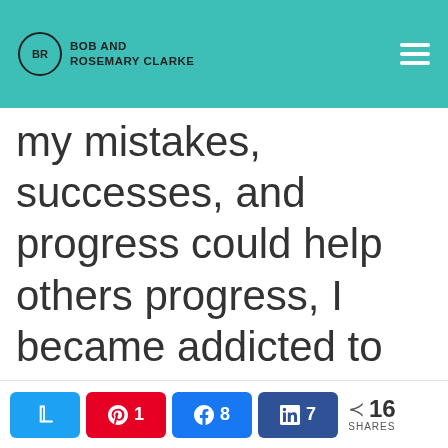BOB AND ROSEMARY CLARKE
my mistakes, successes, and progress could help others progress, I became addicted to the feeling of being outside my comfort zone and looked for bigger ways to push myself.
The purpose of my
Share buttons: Twitter, Pinterest 1, Facebook 8, LinkedIn 7 | 16 SHARES